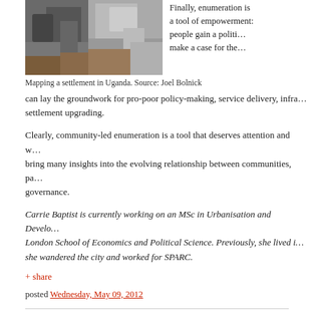[Figure (photo): Photo of people mapping a settlement in Uganda, partially cropped at top]
Mapping a settlement in Uganda. Source: Joel Bolnick
Finally, enumeration is a tool of empowerment: people gain a political voice and can make a case for the... can lay the groundwork for pro-poor policy-making, service delivery, infra... settlement upgrading.
Clearly, community-led enumeration is a tool that deserves attention and w... bring many insights into the evolving relationship between communities, pa... governance.
Carrie Baptist is currently working on an MSc in Urbanisation and Develo... London School of Economics and Political Science. Previously, she lived i... she wandered the city and worked for SPARC.
+ share
posted Wednesday, May 09, 2012